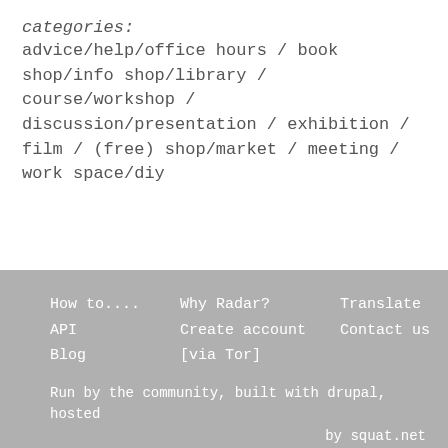categories:
advice/help/office hours / book shop/info shop/library / course/workshop / discussion/presentation / exhibition / film / (free) shop/market / meeting / work space/diy
How to....   Why Radar?   Translate
API   Create account   Contact us
Blog   [via Tor]

Run by the community, built with drupal, hosted by squat.net